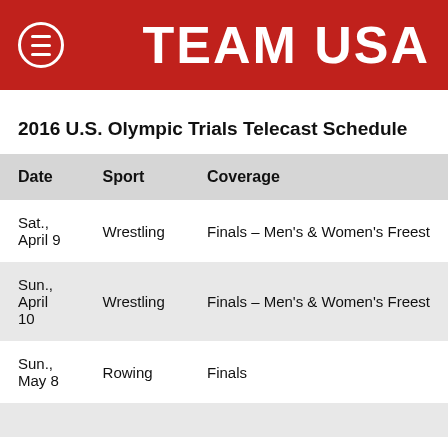TEAM USA
2016 U.S. Olympic Trials Telecast Schedule
| Date | Sport | Coverage |
| --- | --- | --- |
| Sat., April 9 | Wrestling | Finals – Men's & Women's Freest… |
| Sun., April 10 | Wrestling | Finals – Men's & Women's Freest… |
| Sun., May 8 | Rowing | Finals |